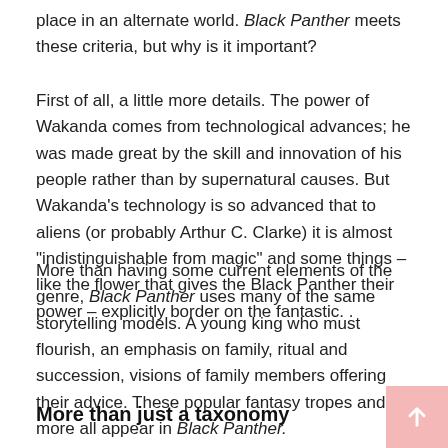place in an alternate world. Black Panther meets these criteria, but why is it important?
First of all, a little more details. The power of Wakanda comes from technological advances; he was made great by the skill and innovation of his people rather than by supernatural causes. But Wakanda’s technology is so advanced that to aliens (or probably Arthur C. Clarke) it is almost “indistinguishable from magic” and some things – like the flower that gives the Black Panther their power – explicitly border on the fantastic. .
More than having some current elements of the genre, Black Panther uses many of the same storytelling models. A young king who must flourish, an emphasis on family, ritual and succession, visions of family members offering their advice. These popular fantasy tropes and more all appear in Black Panther.
More than just a taxonomy